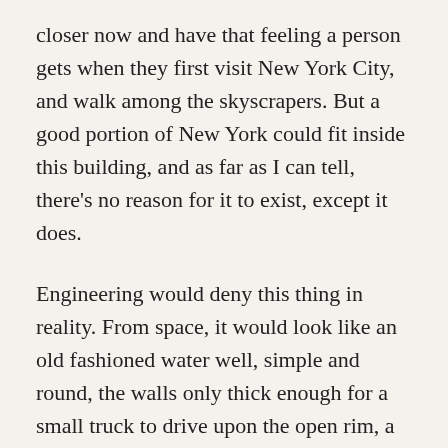closer now and have that feeling a person gets when they first visit New York City, and walk among the skyscrapers. But a good portion of New York could fit inside this building, and as far as I can tell, there’s no reason for it to exist, except it does.
Engineering would deny this thing in reality. From space, it would look like an old fashioned water well, simple and round, the walls only thick enough for a small truck to drive upon the open rim, a three meters wide, at most. I’ve been up there once before. I think I fell.
There’s a tiny café to the left of the entrance and people time their visits to avoid the guy mowing the